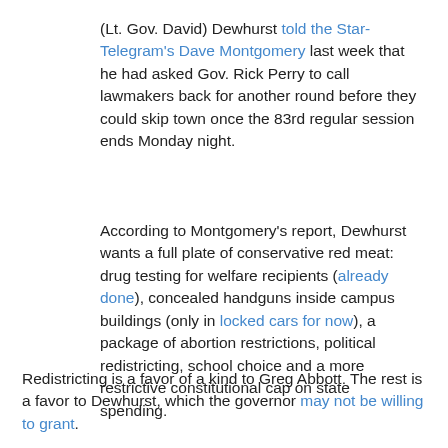(Lt. Gov. David) Dewhurst told the Star-Telegram's Dave Montgomery last week that he had asked Gov. Rick Perry to call lawmakers back for another round before they could skip town once the 83rd regular session ends Monday night.
According to Montgomery's report, Dewhurst wants a full plate of conservative red meat: drug testing for welfare recipients (already done), concealed handguns inside campus buildings (only in locked cars for now), a package of abortion restrictions, political redistricting, school choice and a more restrictive constitutional cap on state spending.
Redistricting is a favor of a kind to Greg Abbott. The rest is a favor to Dewhurst, which the governor may not be willing to grant.